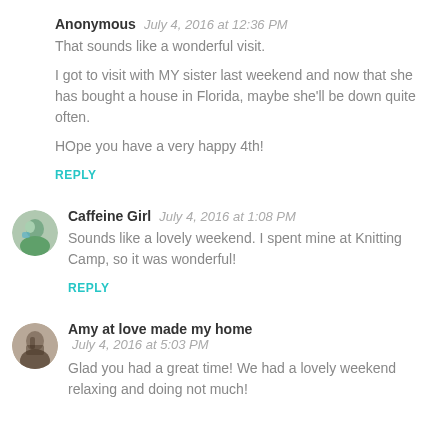Anonymous   July 4, 2016 at 12:36 PM
That sounds like a wonderful visit.

I got to visit with MY sister last weekend and now that she has bought a house in Florida, maybe she'll be down quite often.

HOpe you have a very happy 4th!

REPLY
Caffeine Girl   July 4, 2016 at 1:08 PM
Sounds like a lovely weekend. I spent mine at Knitting Camp, so it was wonderful!

REPLY
Amy at love made my home   July 4, 2016 at 5:03 PM
Glad you had a great time! We had a lovely weekend relaxing and doing not much!